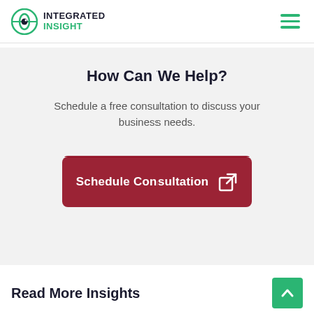INTEGRATED INSIGHT
How Can We Help?
Schedule a free consultation to discuss your business needs.
[Figure (other): Dark red rounded button labeled 'Schedule Consultation' with an external link icon]
Read More Insights